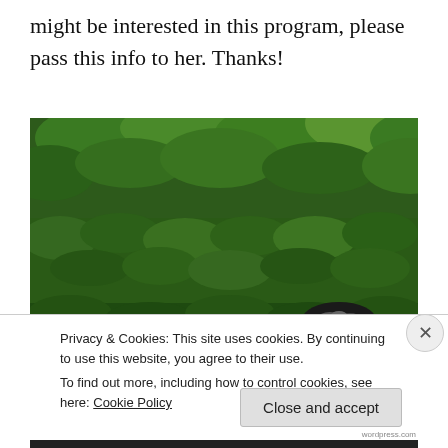might be interested in this program, please pass this info to her. Thanks!
[Figure (photo): A person partially visible behind a dense wall of green ivy and foliage, with only the top of their head showing near the bottom of the image.]
Privacy & Cookies: This site uses cookies. By continuing to use this website, you agree to their use.
To find out more, including how to control cookies, see here: Cookie Policy
Close and accept